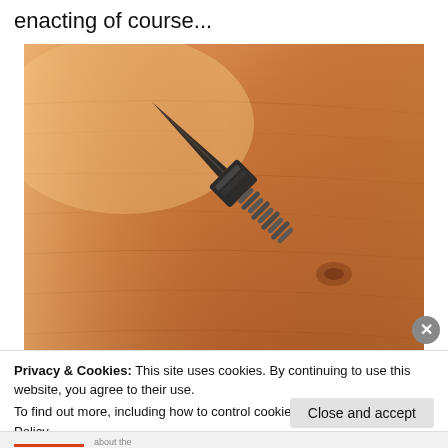enacting of course...
[Figure (photo): A dark metallic switchblade or stiletto knife with a coiled spring mechanism along the handle, photographed on a wooden surface with reddish-brown grain. The blade points diagonally upward to the upper right.]
Privacy & Cookies: This site uses cookies. By continuing to use this website, you agree to their use.
To find out more, including how to control cookies, see here: Cookie Policy
Close and accept